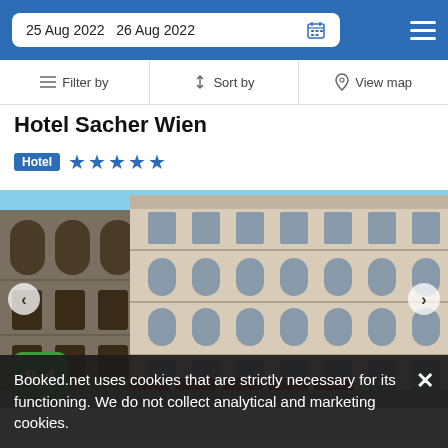25 Aug 2022  26 Aug 2022
Filter by  |  Sort by  |  View map
Hotel Sacher Wien
Hotel ★★★★★
[Figure (photo): Exterior photo of Hotel Sacher Wien showing ornate Viennese architecture with arched windows, classical facade, red awnings at street level, and a partial view of an adjacent Gothic-style building on the left]
8.4
Booked.net uses cookies that are strictly necessary for its functioning. We do not collect analytical and marketing cookies.
300 yd from City Center